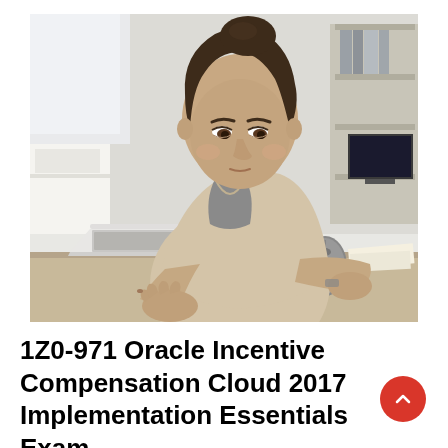[Figure (photo): A young woman with brown hair in a bun, wearing a beige cardigan over a grey top, sitting at a desk typing on a white laptop. The background is a bright, airy office with shelves. A computer mouse is visible on the desk.]
1Z0-971 Oracle Incentive Compensation Cloud 2017 Implementation Essentials Exam